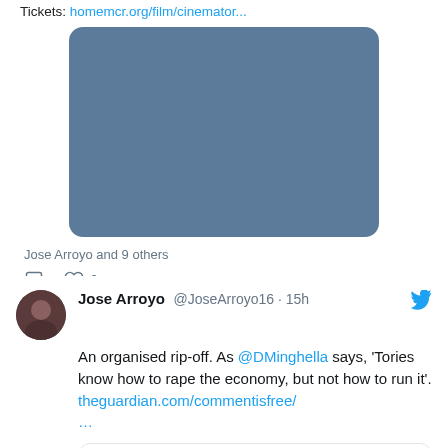Tickets: homemcr.org/film/cinemator...
[Figure (photo): Embedded tweet image placeholder, dark blue-grey rounded rectangle]
Jose Arroyo and 9 others
comment icon, heart icon 6
Jose Arroyo @JoseArroyo16 · 15h
An organised rip-off. As @DMinghella says, 'Tories know how to rape the economy, but not how to run it'. theguardian.com/commentisfree/...
[Figure (screenshot): Embedded article preview card, white rectangle with border]